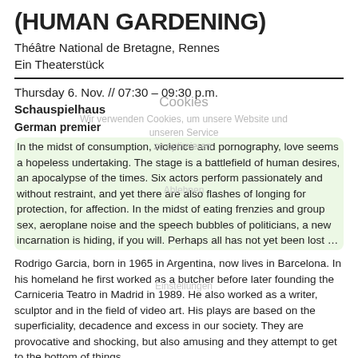(HUMAN GARDENING)
Théâtre National de Bretagne, Rennes
Ein Theaterstück
Thursday 6. Nov. // 07:30 – 09:30 p.m.
Schauspielhaus
German premier
In the midst of consumption, violence and pornography, love seems a hopeless undertaking. The stage is a battlefield of human desires, an apocalypse of the times. Six actors perform passionately and without restraint, and yet there are also flashes of longing for protection, for affection. In the midst of eating frenzies and group sex, aeroplane noise and the speech bubbles of politicians, a new incarnation is hiding, if you will. Perhaps all has not yet been lost …
Rodrigo Garcia, born in 1965 in Argentina, now lives in Barcelona. In his homeland he first worked as a butcher before later founding the Carniceria Teatro in Madrid in 1989. He also worked as a writer, sculptor and in the field of video art. His plays are based on the superficiality, decadence and excess in our society. They are provocative and shocking, but also amusing and they attempt to get to the bottom of things.
»Jardineria humana« (»Human gardening«) originated at the National Theatre in Rennes, in the north of France, with Spanish actors. It's a mixture of a cheerful brothel, political vision, bestial world events and solitary clowning. Garcia is